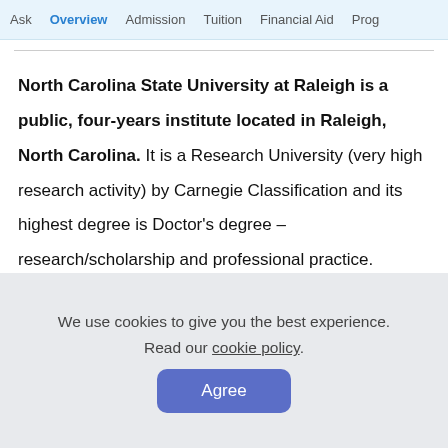Ask  Overview  Admission  Tuition  Financial Aid  Prog
North Carolina State University at Raleigh is a public, four-years institute located in Raleigh, North Carolina. It is a Research University (very high research activity) by Carnegie Classification and its highest degree is Doctor's degree – research/scholarship and professional practice.
We use cookies to give you the best experience. Read our cookie policy. Agree